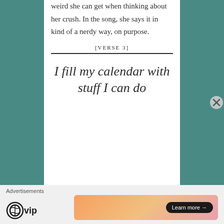weird she can get when thinking about her crush. In the song, she says it in kind of a nerdy way, on purpose.
[VERSE 3]
I fill my calendar with stuff I can do
Advertisements
[Figure (logo): WordPress VIP logo and advertisement banner with Learn more button]